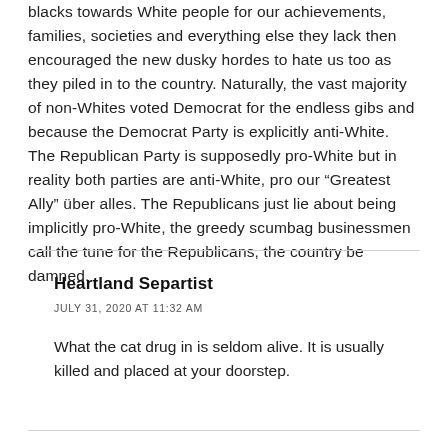blacks towards White people for our achievements, families, societies and everything else they lack then encouraged the new dusky hordes to hate us too as they piled in to the country. Naturally, the vast majority of non-Whites voted Democrat for the endless gibs and because the Democrat Party is explicitly anti-White. The Republican Party is supposedly pro-White but in reality both parties are anti-White, pro our “Greatest Ally” über alles. The Republicans just lie about being implicitly pro-White, the greedy scumbag businessmen call the tune for the Republicans, the country be damned.
Heartland Separtist
JULY 31, 2020 AT 11:32 AM
What the cat drug in is seldom alive. It is usually killed and placed at your doorstep.